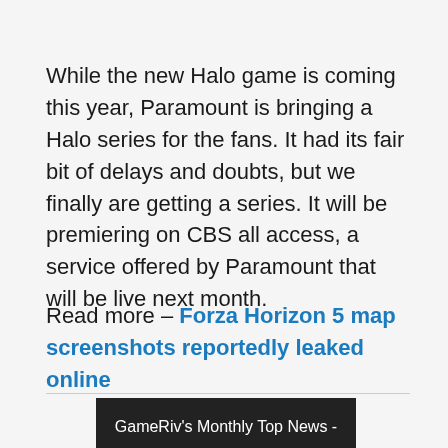While the new Halo game is coming this year, Paramount is bringing a Halo series for the fans. It had its fair bit of delays and doubts, but we finally are getting a series. It will be premiering on CBS all access, a service offered by Paramount that will be live next month.
Read more – Forza Horizon 5 map screenshots reportedly leaked online
[Figure (screenshot): Video thumbnail with dark background showing text 'GameRiv's Monthly Top News - ...' in white]